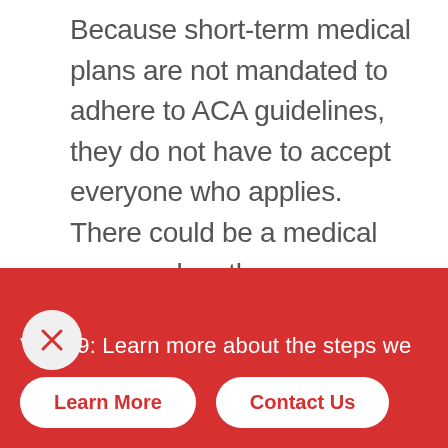Because short-term medical plans are not mandated to adhere to ACA guidelines, they do not have to accept everyone who applies. There could be a medical exam or lengthy questionnaire and someone could be turned away or services could be excluded due to pre-existing conditions. Also, these plans can choose what types of expenses they wish to cover, so it's important to fully understand what benefits are included prior to enrolling.
VID-19: Learn more about the steps we
Learn More
Contact Us